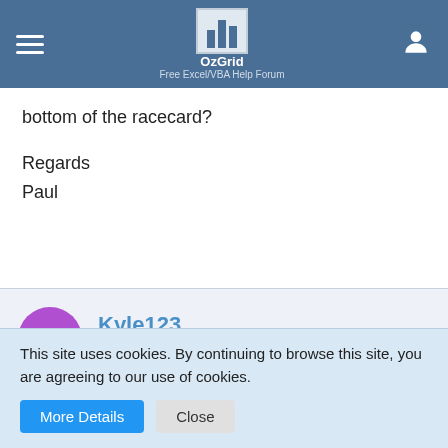OzGrid – Free Excel/VBA Help Forum
bottom of the racecard?

Regards
Paul
Kyle123
Student
Oct 11th 2012
This site uses cookies. By continuing to browse this site, you are agreeing to our use of cookies.